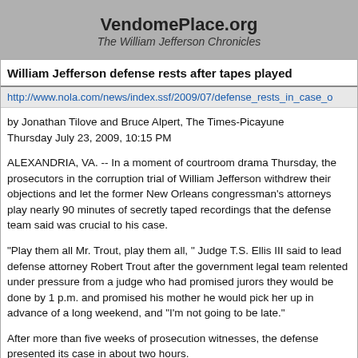VendomePlace.org
The William Jefferson Chronicles
William Jefferson defense rests after tapes played
http://www.nola.com/news/index.ssf/2009/07/defense_rests_in_case_o
by Jonathan Tilove and Bruce Alpert, The Times-Picayune
Thursday July 23, 2009, 10:15 PM
ALEXANDRIA, VA. -- In a moment of courtroom drama Thursday, the prosecutors in the corruption trial of William Jefferson withdrew their objections and let the former New Orleans congressman's attorneys play nearly 90 minutes of secretly taped recordings that the defense team said was crucial to his case.
"Play them all Mr. Trout, play them all, " Judge T.S. Ellis III said to lead defense attorney Robert Trout after the government legal team relented under pressure from a judge who had promised jurors they would be done by 1 p.m. and promised his mother he would pick her up in advance of a long weekend, and "I'm not going to be late."
After more than five weeks of prosecution witnesses, the defense presented its case in about two hours.
Jefferson did not take the stand, a decision that jurors will be instructed they cannot consider or hold against him.
His attorneys called only two witnesses -- an attending physician for Congre...